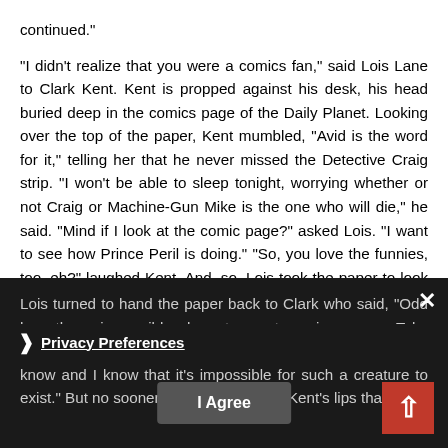continued."
"I didn't realize that you were a comics fan," said Lois Lane to Clark Kent. Kent is propped against his desk, his head buried deep in the comics page of the Daily Planet. Looking over the top of the paper, Kent mumbled, "Avid is the word for it," telling her that he never missed the Detective Craig strip. "I won't be able to sleep tonight, worrying whether or not Craig or Machine-Gun Mike is the one who will die," he said. "Mind if I look at the comic page?" asked Lois. "I want to see how Prince Peril is doing." "So, you love the funnies, too, eh?" laughed Kent. And, so, Lois took the paper to look at the day's episodes of Prince Peril, Detective Craig, The Solitary Rider, Streak Dugan, and Happy Daze.
Lois turned to hand the paper back to Clark who said, "Odd how those impossible characters get a grip on you. Take Torgo, for instance, the menacing giant in Prince Peril. You know and I know that it's impossible for such a creature to exist." But no sooner had the words left Kent's lips than a